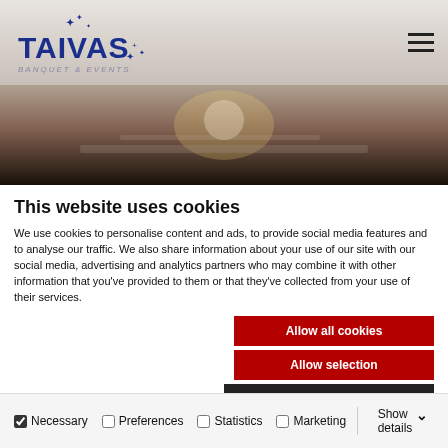[Figure (photo): Taivas venue website header with logo, hamburger menu, and event/dining photos]
This website uses cookies
We use cookies to personalise content and ads, to provide social media features and to analyse our traffic. We also share information about your use of our site with our social media, advertising and analytics partners who may combine it with other information that you've provided to them or that they've collected from your use of their services.
Allow all cookies
Allow selection
Use necessary cookies only
Necessary  Preferences  Statistics  Marketing  Show details